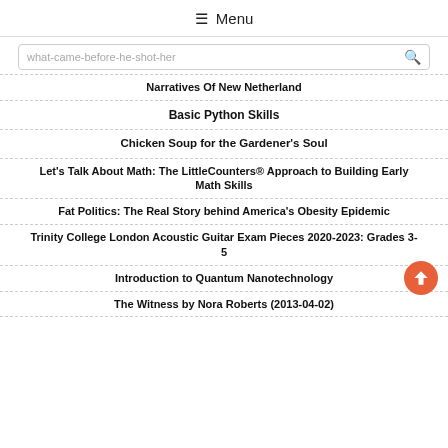☰ Menu
what-came-before-he-shot-her
Narratives Of New Netherland
Basic Python Skills
Chicken Soup for the Gardener's Soul
Let's Talk About Math: The LittleCounters® Approach to Building Early Math Skills
Fat Politics: The Real Story behind America's Obesity Epidemic
Trinity College London Acoustic Guitar Exam Pieces 2020-2023: Grades 3-5
Introduction to Quantum Nanotechnology
The Witness by Nora Roberts (2013-04-02)